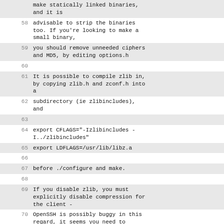make statically linked binaries, and it is
58  advisable to strip the binaries too. If you're looking to make a small binary,
59  you should remove unneeded ciphers and MD5, by editing options.h
60
61  It is possible to compile zlib in, by copying zlib.h and zconf.h into a
62  subdirectory (ie zlibincludes), and
63
64  export CFLAGS="-Izlibincludes -I../zlibincludes"
65  export LDFLAGS=/usr/lib/libz.a
66
67  before ./configure and make.
68
69  If you disable zlib, you must explicitly disable compression for the client -
70  OpenSSH is possibly buggy in this regard, it seems you need to disable it
71  globally in ~/.ssh/config, not just in the host entry in that file.
72